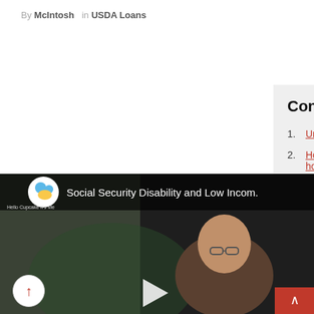By McIntosh in USDA Loans
Contents
1. University housing. university
2. Home equity loan specials home
3. Usd 90) krw 1
4. 90) krw 1
[Figure (screenshot): YouTube video thumbnail showing a person with glasses in a dark room, with channel logo and title 'Social Security Disability and Low Incom.' overlaid at the top]